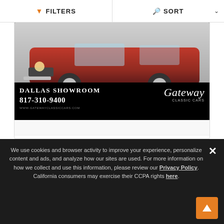FILTERS   SORT
[Figure (photo): Gateway Classic Cars Dallas Showroom advertisement featuring a red 1956 Chevrolet Nomad. Black bar at bottom reads 'Dallas Showroom 817-310-9400' with Gateway Classic Cars logo and website www.gatewayclassiccars.com]
1956 Chevrolet Nomad
$100,000
Color   Red
Miles   1,636
We use cookies and browser activity to improve your experience, personalize content and ads, and analyze how our sites are used. For more information on how we collect and use this information, please review our Privacy Policy. California consumers may exercise their CCPA rights here.